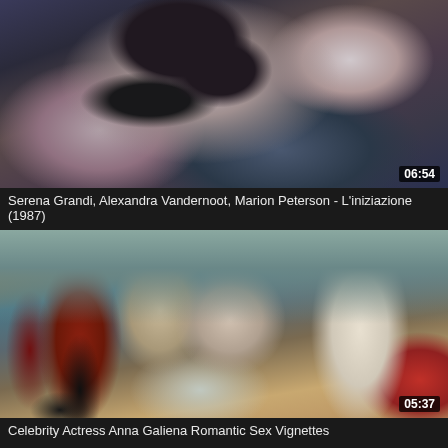[Figure (screenshot): Video thumbnail showing a dark intimate scene, blueish tones]
Serena Grandi, Alexandra Vandernoot, Marion Peterson - L'iniziazione (1987)
[Figure (screenshot): Video thumbnail showing figures in a kitchen/restaurant scene, warm tones]
Celebrity Actress Anna Galiena Romantic Sex Vignettes